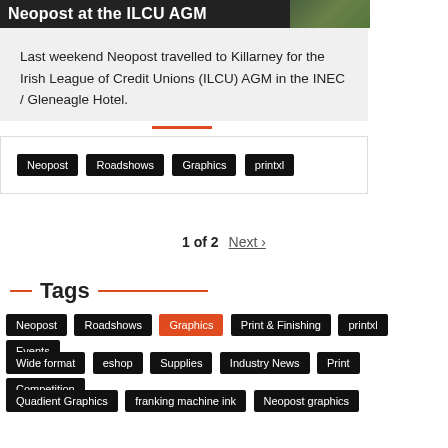[Figure (photo): Header image bar showing 'Neopost at the ILCU AGM' title over a dark background with partial product image]
Last weekend Neopost travelled to Killarney for the Irish League of Credit Unions (ILCU) AGM in the INEC / Gleneagle Hotel.
Neopost
Roadshows
Graphics
printxl
1 of 2  Next ›
Tags
Neopost
Roadshows
Graphics
Print & Finishing
printxl
Events
Wide format
eshop
Supplies
Industry News
Print
Competition
Quadient Graphics
franking machine ink
Neopost graphics